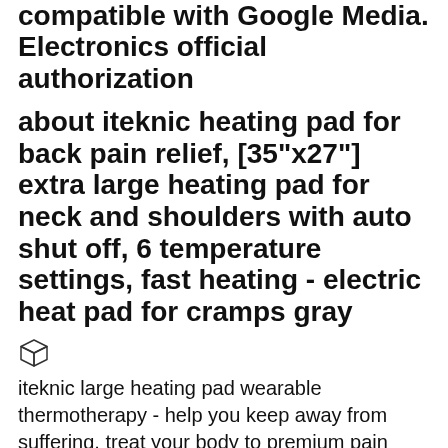compatible with Google Media. Electronics official authorization
about iteknic heating pad for back pain relief, [35"x27"] extra large heating pad for neck and shoulders with auto shut off, 6 temperature settings, fast heating - electric heat pad for cramps gray
[Figure (illustration): 3D box/package icon]
iteknic large heating pad wearable thermotherapy - help you keep away from suffering, treat your body to premium pain relief. 35"x27" ultra-wide heated pad provides simultaneous heat relief for your sore muscles in your back, neck, shoulders, legs, arms, stomach, knees, and more. extremely